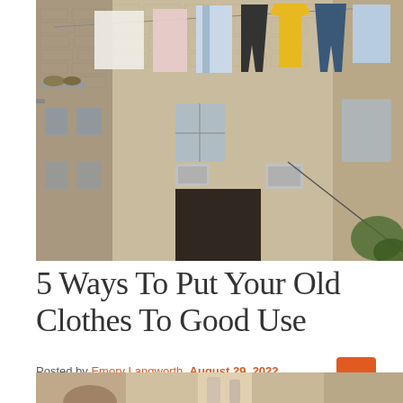[Figure (photo): Photo of a stone building courtyard with colorful laundry hanging on a clothesline between buildings. Stone walls, arched gate, AC units visible. Clothes include yellow, blue, black, pink, white items.]
5 Ways To Put Your Old Clothes To Good Use
Posted by Emory Langworth  August 29, 2022
[Figure (photo): Partial photo at bottom of page, cropped — appears to show a person with clothing items.]